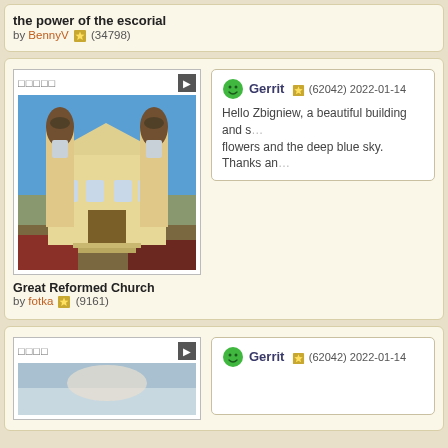the power of the escorial
by BennyV (34798)
[Figure (photo): Great Reformed Church building photo - yellow/cream neoclassical church with two towers against blue sky, red flowers in foreground]
Great Reformed Church
by fotka (9161)
Gerrit (62042) 2022-01-14
Hello Zbigniew, a beautiful building and s... flowers and the deep blue sky. Thanks an...
[Figure (photo): Partial view of another photo at bottom of page]
Gerrit (62042) 2022-01-14